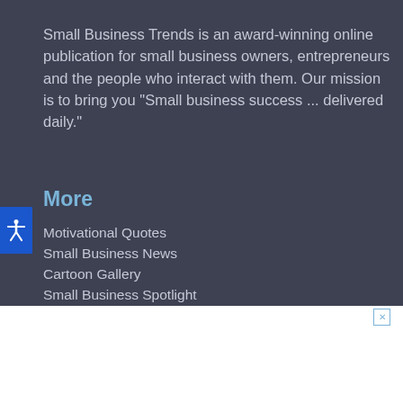Small Business Trends is an award-winning online publication for small business owners, entrepreneurs and the people who interact with them. Our mission is to bring you "Small business success ... delivered daily."
More
Motivational Quotes
Small Business News
Cartoon Gallery
Small Business Spotlight
Contact
About
Advertise
Contact Us
Company
Media Kit